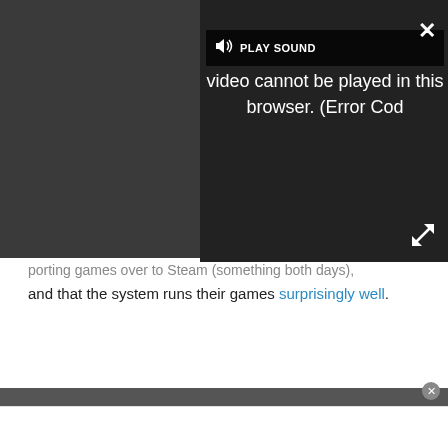[Figure (screenshot): Video player overlay showing a dark browser video error: 'video cannot be played in this browser. (Error Cod' with a PLAY SOUND bar at top, close X button top right, and expand arrows bottom right.]
and that the system runs their games surprisingly well.
[Figure (screenshot): Bitdefender advertisement with 'Back To School' text and illustration of laptop, phone icons. Text reads 'Bitdefender' and 'Start your school year'.]
Advertisement